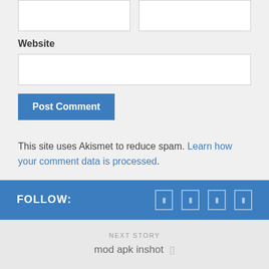Website
[Figure (screenshot): Two input fields side by side (name/email), one full-width input field for website, and a blue Post Comment button — part of a comment form]
This site uses Akismet to reduce spam. Learn how your comment data is processed.
FOLLOW:
NEXT STORY
mod apk inshot
PREVIOUS STORY